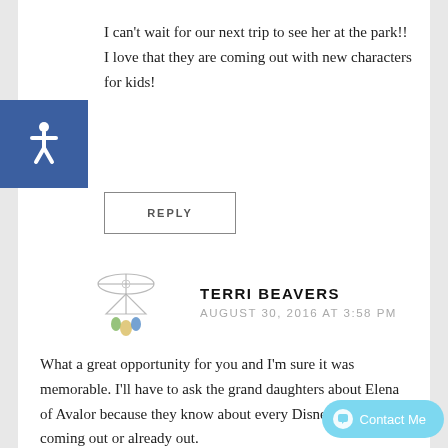I can't wait for our next trip to see her at the park!! I love that they are coming out with new characters for kids!
REPLY
[Figure (illustration): Decorative avatar icon with geometric/dreamcatcher design in muted colors]
TERRI BEAVERS
AUGUST 30, 2016 AT 3:58 PM
What a great opportunity for you and I'm sure it was memorable. I'll have to ask the grand daughters about Elena of Avalor because they know about every Disney show coming out or already out.
REPLY
[Figure (logo): Light blue Contact Me button with speech bubble icon]